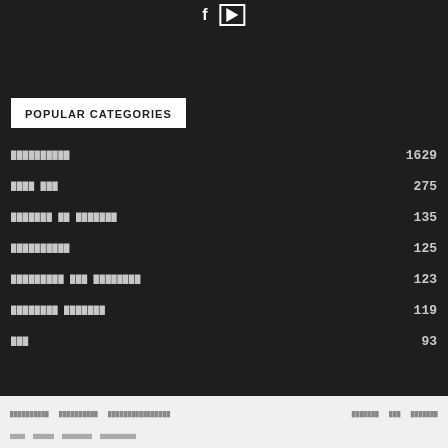[Figure (other): Social media icons: Facebook 'f' and YouTube play button in white on dark background]
POPULAR CATEGORIES
██████████  1629
████ ███  275
███████ ██ ███████  135
██████████  125
█████████ ███ ████████  123
████████ ███████  119
███  93
██████████  ██████████  ████████████████  ███████  ███  ███████